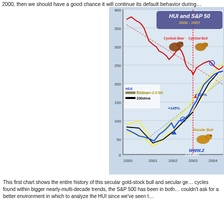2000, then we should have a good chance it will continue its default behavior during…
[Figure (continuous-plot): Line chart showing HUI index and S&P 500 from 2000 to 2004+. Red line shows S&P 500 declining from ~360 to ~200, then recovering. Blue line shows HUI rising from ~60 to ~200+. Yellow lines show 50dma +/-2.5 SD bands. Black line shows 200dma. Features annotations: Cyclical Bear, Cyclical Bull, Secular Bull labels with animal icons. Vertical dotted red line at 2003 (2.14.2007 label). Points labeled 0, 1, 2 on blue HUI line. Percentage labels +125% and +145%.]
This first chart shows the entire history of this secular gold-stock bull and secular ge… cycles found within bigger nearly-multi-decade trends, the S&P 500 has been in both… couldn't ask for a better environment in which to analyze the HUI since we've seen t…